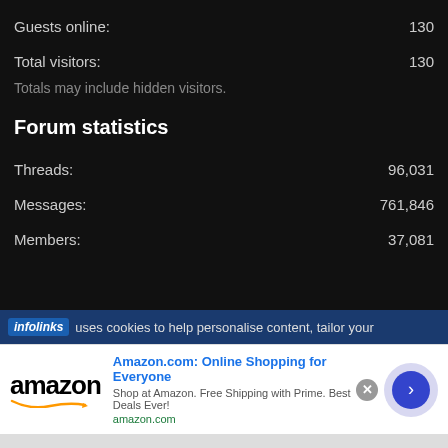Guests online: 130
Total visitors: 130
Totals may include hidden visitors.
Forum statistics
Threads: 96,031
Messages: 761,846
Members: 37,081
infolinks uses cookies to help personalise content, tailor your
[Figure (screenshot): Amazon advertisement banner showing Amazon logo, title 'Amazon.com: Online Shopping for Everyone', description 'Shop at Amazon. Free Shipping with Prime. Best Deals Ever!', amazon.com URL, and a blue circular arrow button]